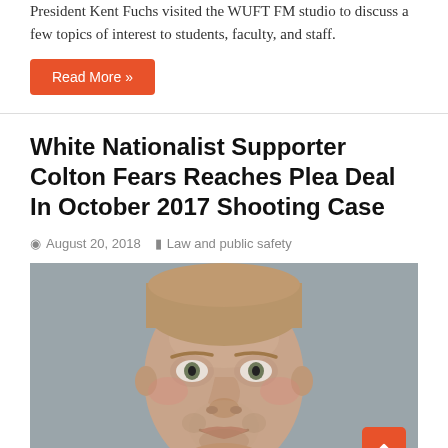President Kent Fuchs visited the WUFT FM studio to discuss a few topics of interest to students, faculty, and staff.
Read More »
White Nationalist Supporter Colton Fears Reaches Plea Deal In October 2017 Shooting Case
August 20, 2018   Law and public safety
[Figure (photo): Mugshot-style portrait photo of a young white man with short blond hair and stubble beard, looking directly at camera against a gray background.]